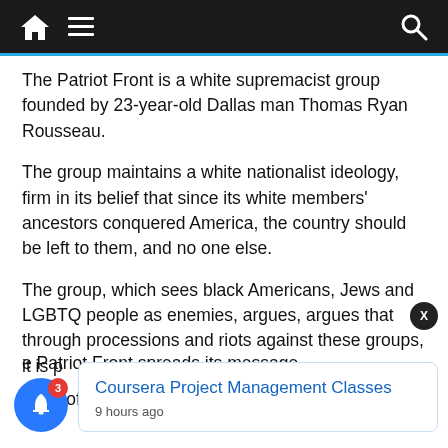Navigation bar with home, menu, and search icons
The Patriot Front is a white supremacist group founded by 23-year-old Dallas man Thomas Ryan Rousseau.
The group maintains a white nationalist ideology, firm in its belief that since its white members' ancestors conquered America, the country should be left to them, and no one else.
The group, which sees black Americans, Jews and LGBTQ people as enemies, argues, argues that through processions and riots against these groups, it is p[artially honoring the] ori[gins of its members].
e Patriot Front spreads its message
[Figure (infographic): Notification bell icon with badge showing 3 notifications, and a tooltip popup showing 'Coursera Project Management Classes' posted '9 hours ago']